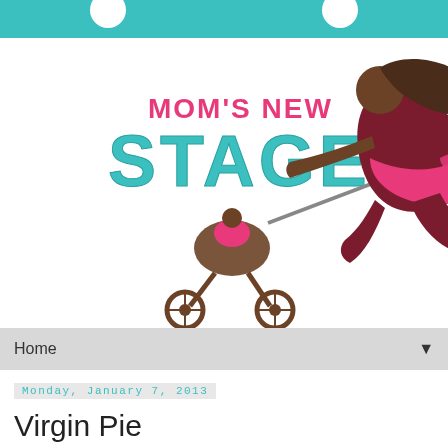[Figure (logo): Mom's New Stage blog logo: teal header bar with white circles, illustration of a superhero mom in dark red/maroon leaping and pulling a stroller with a baby in pink, teal bubble letters spelling STAGE, pink text MOM'S NEW above, tagline 'bringing a little me back to mommy']
Home
Monday, January 7, 2013
Virgin Pie